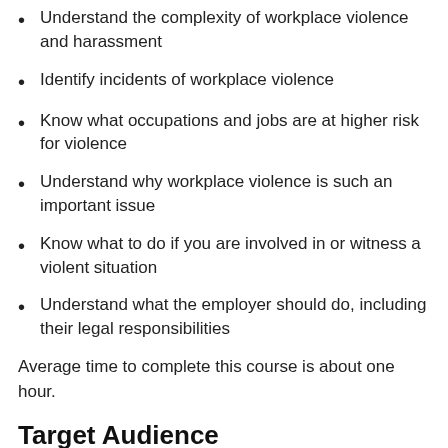Understand the complexity of workplace violence and harassment
Identify incidents of workplace violence
Know what occupations and jobs are at higher risk for violence
Understand why workplace violence is such an important issue
Know what to do if you are involved in or witness a violent situation
Understand what the employer should do, including their legal responsibilities
Average time to complete this course is about one hour.
Target Audience
This course is designed for frontline supervisors